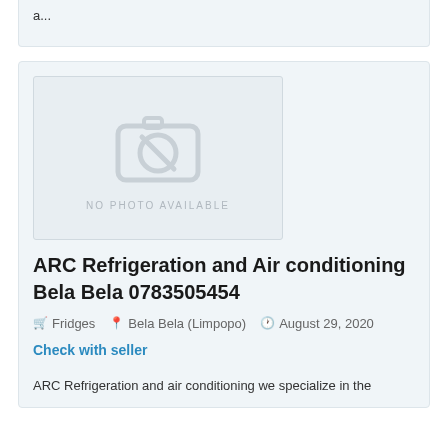a...
[Figure (photo): No photo available placeholder image with camera icon crossed out]
ARC Refrigeration and Air conditioning Bela Bela 0783505454
🛒 Fridges   📍 Bela Bela (Limpopo)   🕐 August 29, 2020
Check with seller
ARC Refrigeration and air conditioning we specialize in the